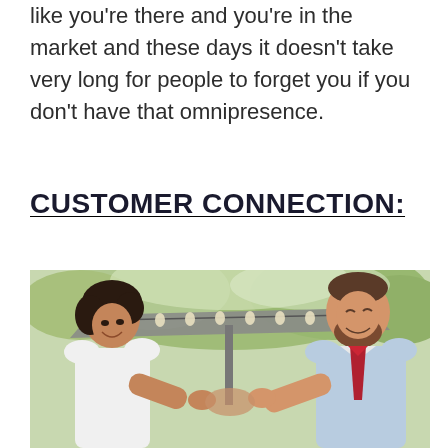like you're there and you're in the market and these days it doesn't take very long for people to forget you if you don't have that omnipresence.
CUSTOMER CONNECTION:
[Figure (photo): Two people shaking hands outdoors, a woman on the left in a white top smiling, and a bearded man on the right in a light blue shirt with a red tie, with string lights and trees in the background.]